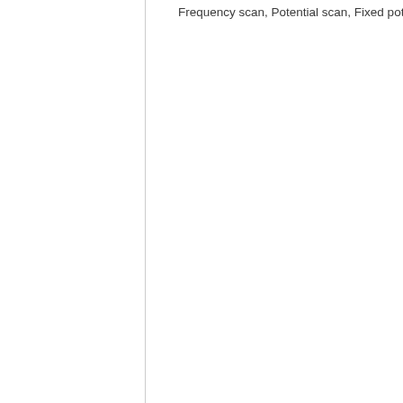Frequency scan, Potential scan, Fixed potential, Time s